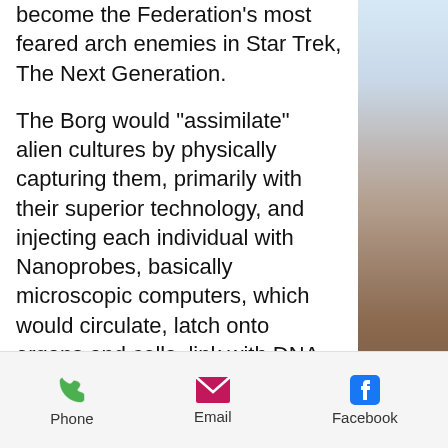...become the Federation's most feared arch enemies in Star Trek, The Next Generation.
The Borg would "assimilate" alien cultures by physically capturing them, primarily with their superior technology, and injecting each individual with Nanoprobes, basically microscopic computers, which would circulate, latch onto organs and cells, link with DNA and neural circuits and forcibly bypass the individuals' own thinking mind and taking over control of their body and every action.
Phone   Email   Facebook